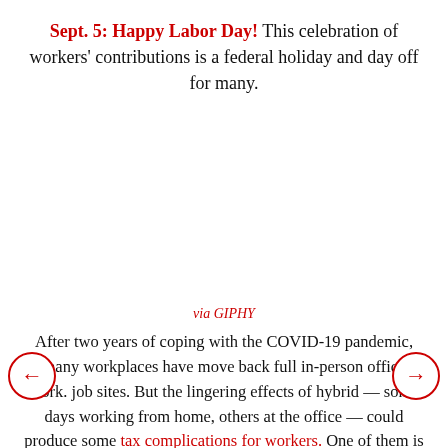Sept. 5: Happy Labor Day! This celebration of workers' contributions is a federal holiday and day off for many.
via GIPHY
After two years of coping with the COVID-19 pandemic, many workplaces have move back full in-person office work. job sites. But the lingering effects of hybrid — some days working from home, others at the office — could produce some tax complications for workers. One of them is the unwelcome realization that as employees, their home office is not tax deductible.